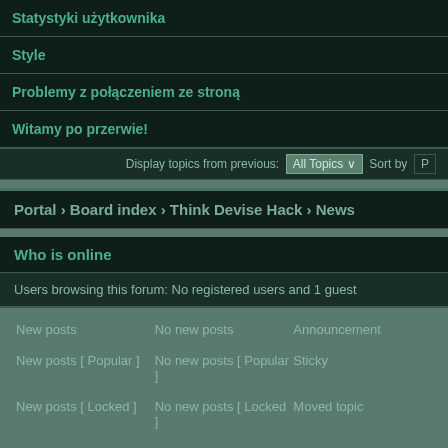| Statystyki użytkownika |
| Style |
| Problemy z połączeniem ze stroną |
| Witamy po przerwie! |
Display topics from previous: All Topics  Sort by  P
Portal › Board index › Think Devise Hack › News
Who is online
Users browsing this forum: No registered users and 1 guest
New posts
No new posts
Announcement
New posts [ Popular ]
No new posts [ Popular ]
Sticky
New posts [ Locked ]
No new posts [ Locked ]
Moved topic
Search for:  Go
Powered by p  Style D  TDHack m